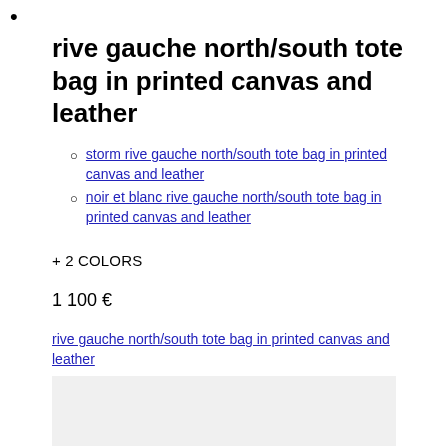•
rive gauche north/south tote bag in printed canvas and leather
storm rive gauche north/south tote bag in printed canvas and leather
noir et blanc rive gauche north/south tote bag in printed canvas and leather
+ 2 COLORS
1 100 €
rive gauche north/south tote bag in printed canvas and leather
[Figure (other): Gray placeholder image area]